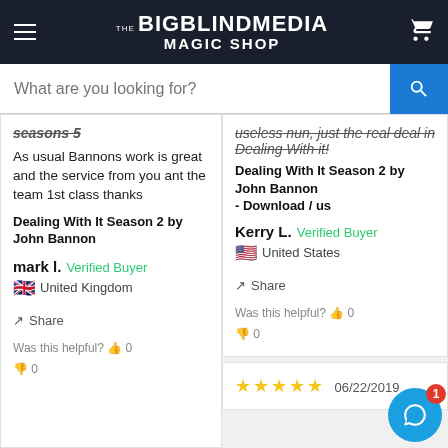THE BIGBLINDMEDIA MAGIC SHOP
What are you looking for?
seasons 5
As usual Bannons work is great and the service from you ant the team 1st class thanks
Dealing With It Season 2 by John Bannon
mark l. Verified Buyer
United Kingdom
Share
Was this helpful? 0 0
useless nun, just the real deal in Dealing With it!
Dealing With It Season 2 by John Bannon - Download / us
Kerry L. Verified Buyer
United States
Share
Was this helpful? 0 0
★★★★★ 06/22/2019